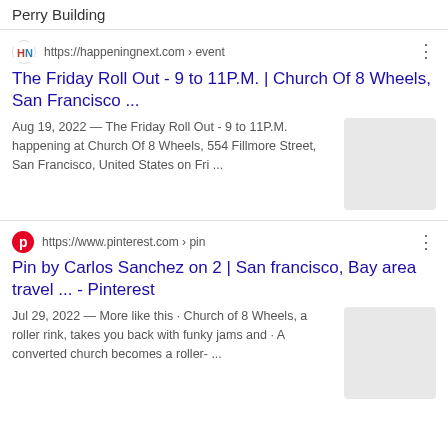Perry Building
https://happeningnext.com › event
The Friday Roll Out - 9 to 11P.M. | Church Of 8 Wheels, San Francisco ...
Aug 19, 2022 — The Friday Roll Out - 9 to 11P.M. happening at Church Of 8 Wheels, 554 Fillmore Street, San Francisco, United States on Fri ...
https://www.pinterest.com › pin
Pin by Carlos Sanchez on 2 | San francisco, Bay area travel ... - Pinterest
Jul 29, 2022 — More like this · Church of 8 Wheels, a roller rink, takes you back with funky jams and · A converted church becomes a roller- ...